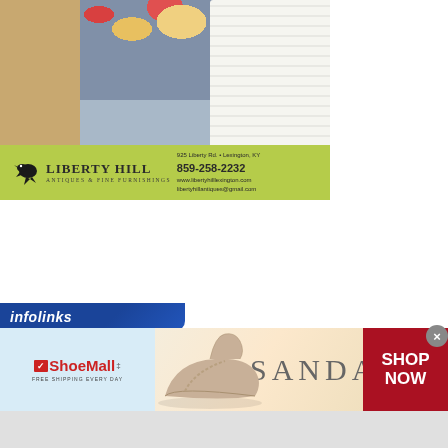[Figure (photo): Liberty Hill Antiques & Fine Furnishings advertisement showing a tablescape with flowers, candles, china plates, and linens. Green background with logo, phone number 859-258-2232, address 925 Liberty Rd. Lexington KY, website www.libertyhilllexington.com, and email libertyhillantiques@gmail.com.]
[Figure (screenshot): Amazon Ads button — dark rounded rectangle with white bold text reading 'Amazon Ads']
[Figure (infographic): Infolinks banner ad for ShoeMall featuring sandals. Left section: light blue with ShoeMall logo and 'FREE SHIPPING EVERY DAY'. Center: beige/cream background with photo of a wedge sandal shoe and the word SANDALS in large thin letters. Right: dark red/maroon section with white bold text 'SHOP NOW'. A close (X) button in gray circle at top right.]